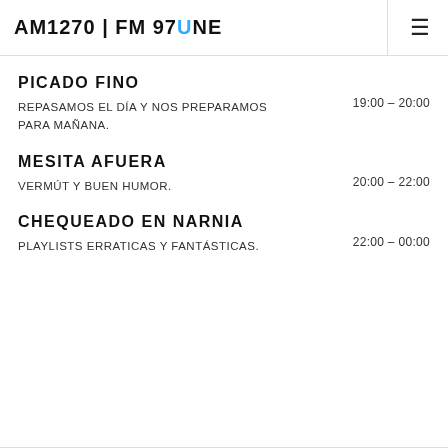AM1270 | FM 97UNE
PICADO FINO
REPASAMOS EL DÍA Y NOS PREPARAMOS PARA MAÑANA.
19:00 - 20:00
MESITA AFUERA
VERMÚT Y BUEN HUMOR.
20:00 - 22:00
CHEQUEADO EN NARNIA
PLAYLISTS ERRATICAS Y FANTÁSTICAS.
22:00 - 00:00